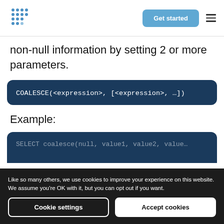Get started
non-null information by setting 2 or more parameters.
Example:
Like so many others, we use cookies to improve your experience on this website. We assume you're OK with it, but you can opt out if you want.